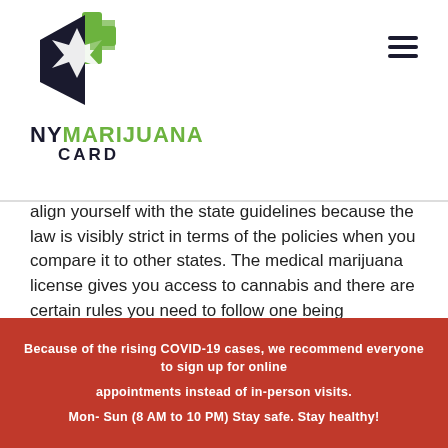[Figure (logo): NY Marijuana Card logo with a green and navy leaf/cross icon above the text NY MARIJUANA CARD]
align yourself with the state guidelines because the law is visibly strict in terms of the policies when you compare it to other states. The medical marijuana license gives you access to cannabis and there are certain rules you need to follow one being documentation.
The regulation is also to put a tab on unlawful practices and ensure minor patients don't get access to marijuana. The cannabis program is created to suit the medical needs of patients but only above the stipulated age. Plus, recreational use is still not valid now.
Because of the rising COVID-19 cases, we recommend everyone to sign up for online appointments instead of in-person visits.
Mon- Sun (8 AM to 10 PM) Stay safe. Stay healthy!